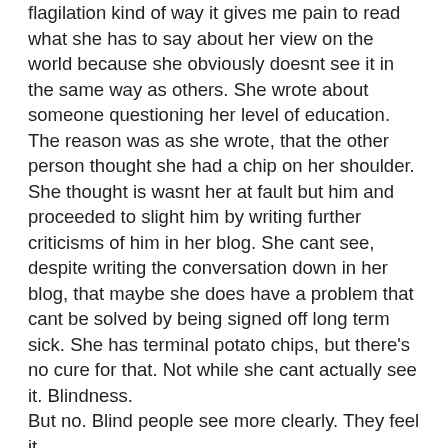flagilation kind of way it gives me pain to read what she has to say about her view on the world because she obviously doesnt see it in the same way as others. She wrote about someone questioning her level of education. The reason was as she wrote, that the other person thought she had a chip on her shoulder. She thought is wasnt her at fault but him and proceeded to slight him by writing further criticisms of him in her blog. She cant see, despite writing the conversation down in her blog, that maybe she does have a problem that cant be solved by being signed off long term sick. She has terminal potato chips, but there's no cure for that. Not while she cant actually see it. Blindness.
But no. Blind people see more clearly. They feel it.
I rode to work through london a different route each day this week from the train station, no idea if I was taking the best roads, I just followed my nose. Always end up in the place I want to be.
I need to feel im not becoming a part of the machine, the human conveyor belt. Or if I am already part of it, I need to know that I can get off for a look around sometimes. What struck me was how interesting it is to cycle around london streets. Particularly the City. If we raise our gaze, the